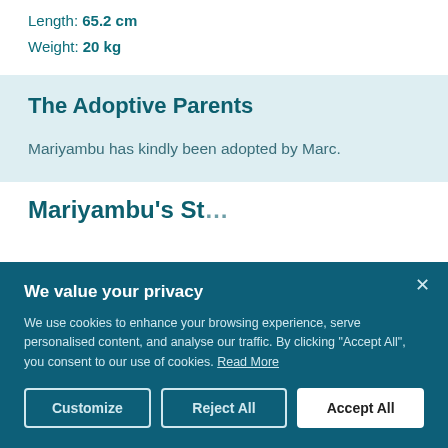Length: 65.2 cm
Weight: 20 kg
The Adoptive Parents
Mariyambu has kindly been adopted by Marc.
Mariyambu's St...
We value your privacy
We use cookies to enhance your browsing experience, serve personalised content, and analyse our traffic. By clicking "Accept All", you consent to our use of cookies. Read More
Customize | Reject All | Accept All